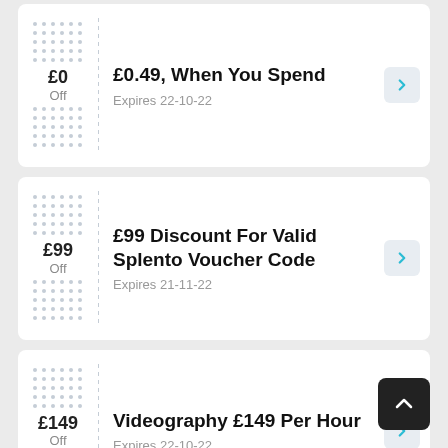£0 Off — £0.49, When You Spend — Expires 22-10-22
£99 Off — £99 Discount For Valid Splento Voucher Code — Expires 21-11-22
£149 Off — Videography £149 Per Hour — Expires 22-10-22